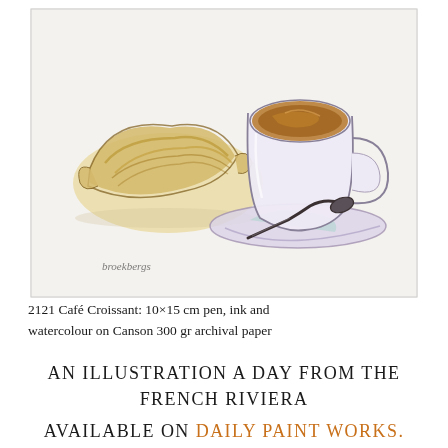[Figure (illustration): Watercolour and pen illustration of a croissant on the left and a coffee cup with saucer and spoon on the right, on a light background. Artist signature at lower left reads 'broekbergs'.]
2121 Café Croissant: 10×15 cm pen, ink and watercolour on Canson 300 gr archival paper
AN ILLUSTRATION A DAY FROM THE FRENCH RIVIERA
AVAILABLE ON DAILY PAINT WORKS.